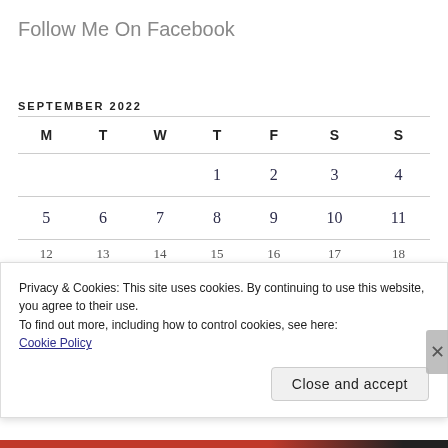Follow Me On Facebook
| M | T | W | T | F | S | S |
| --- | --- | --- | --- | --- | --- | --- |
|  |  |  | 1 | 2 | 3 | 4 |
| 5 | 6 | 7 | 8 | 9 | 10 | 11 |
| 12 | 13 | 14 | 15 | 16 | 17 | 18 |
Privacy & Cookies: This site uses cookies. By continuing to use this website, you agree to their use.
To find out more, including how to control cookies, see here: Cookie Policy
Close and accept